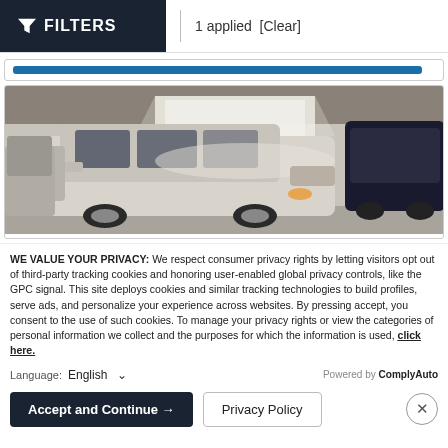FILTERS  |  1 applied  [Clear]
[Figure (screenshot): A blue search/filter bar inside a bordered box]
[Figure (photo): Photo of a silver SUV (appears to be a Honda CR-V or similar) parked under a large metal canopy/warehouse structure, with another dark SUV partially visible on the right]
WE VALUE YOUR PRIVACY: We respect consumer privacy rights by letting visitors opt out of third-party tracking cookies and honoring user-enabled global privacy controls, like the GPC signal. This site deploys cookies and similar tracking technologies to build profiles, serve ads, and personalize your experience across websites. By pressing accept, you consent to the use of such cookies. To manage your privacy rights or view the categories of personal information we collect and the purposes for which the information is used, click here.
Language:  English  ∨     Powered by ComplyAuto
Accept and Continue →   Privacy Policy   ×